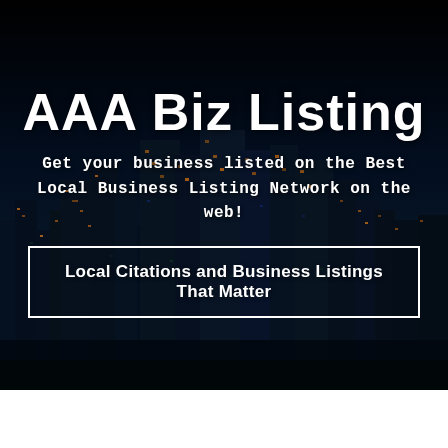AAA Biz Listing
Get your business listed on the Best Local Business Listing Network on the web!
Local Citations and Business Listings That Matter